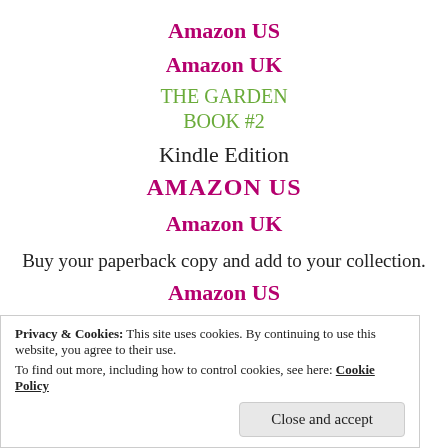Amazon US
Amazon UK
THE GARDEN
BOOK #2
Kindle Edition
AMAZON US
Amazon UK
Buy your paperback copy and add to your collection.
Amazon US
Amazon UK
Privacy & Cookies: This site uses cookies. By continuing to use this website, you agree to their use.
To find out more, including how to control cookies, see here: Cookie Policy
Close and accept